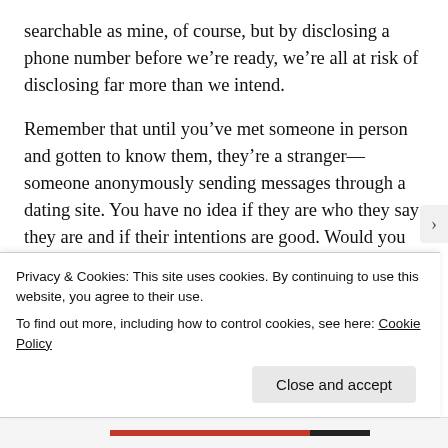searchable as mine, of course, but by disclosing a phone number before we're ready, we're all at risk of disclosing far more than we intend.
Remember that until you've met someone in person and gotten to know them, they're a stranger—someone anonymously sending messages through a dating site. You have no idea if they are who they say they are and if their intentions are good. Would you walk up to a random stranger on the sidewalk and give them your phone number? Yeah, I didn't think so. But if you divulge your phone number to
Privacy & Cookies: This site uses cookies. By continuing to use this website, you agree to their use.
To find out more, including how to control cookies, see here: Cookie Policy
Close and accept